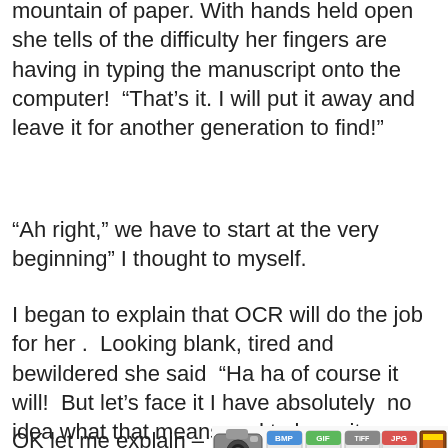mountain of paper. With hands held open she tells of the difficulty her fingers are having in typing the manuscript onto the computer!  “That’s it. I will put it away and leave it for another generation to find!”
“Ah right,” we have to start at the very beginning” I thought to myself.
I began to explain that OCR will do the job for her .  Looking blank, tired and bewildered she said  “Ha ha of course it will!  But let’s face it I have absolutely  no idea what that means and to be quite honest I am not sure I have the inclination to learn”.
OK let me explain – “OCR means “optical character recognition” – think of it as a scanner which
[Figure (illustration): Illustration showing various file format icons (BMP, GIF, TIFF, JPG, PNG, PDF) along with images of a camera, flatbed scanner, and orange lightning bolt arrows pointing to file formats, with partial OCR logo text at bottom.]